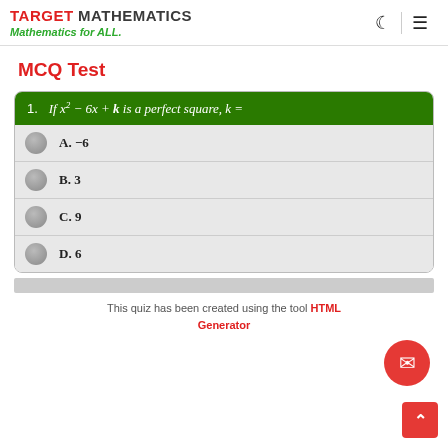TARGET MATHEMATICS Mathematics for ALL.
MCQ Test
A. -6
B. 3
C. 9
D. 6
This quiz has been created using the tool HTML Generator